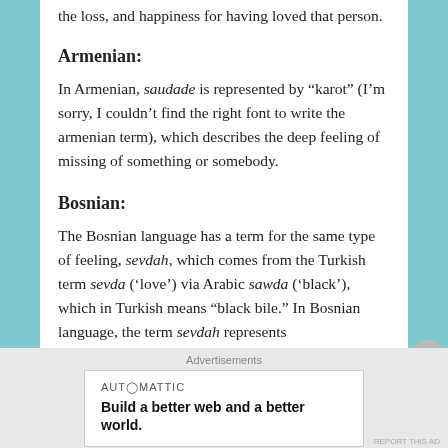the loss, and happiness for having loved that person.
Armenian:
In Armenian, saudade is represented by “karot” (I’m sorry, I couldn’t find the right font to write the armenian term), which describes the deep feeling of missing of something or somebody.
Bosnian:
The Bosnian language has a term for the same type of feeling, sevdah, which comes from the Turkish term sevda (‘love’) via Arabic sawda (‘black’), which in Turkish means “black bile.” In Bosnian language, the term sevdah represents
Advertisements
AUTOMATTIC
Build a better web and a better world.